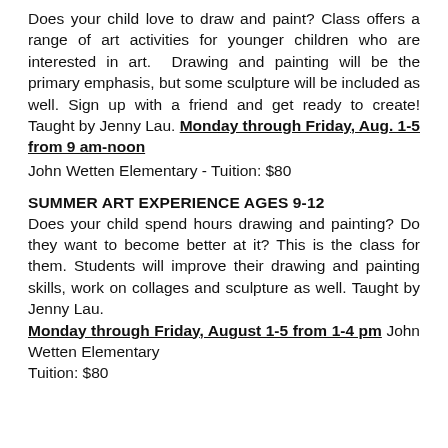Does your child love to draw and paint? Class offers a range of art activities for younger children who are interested in art. Drawing and painting will be the primary emphasis, but some sculpture will be included as well. Sign up with a friend and get ready to create! Taught by Jenny Lau. Monday through Friday, Aug. 1-5 from 9 am-noon
John Wetten Elementary - Tuition: $80
SUMMER ART EXPERIENCE AGES 9-12
Does your child spend hours drawing and painting? Do they want to become better at it? This is the class for them. Students will improve their drawing and painting skills, work on collages and sculpture as well. Taught by Jenny Lau. Monday through Friday, August 1-5 from 1-4 pm John Wetten Elementary
Tuition: $80